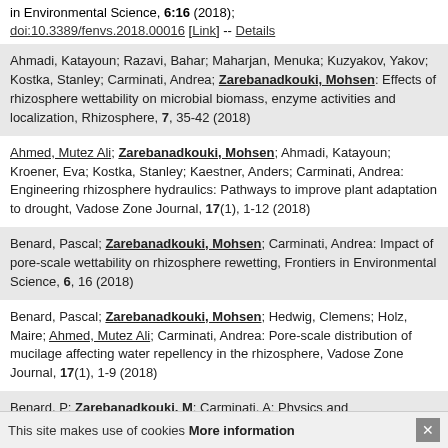in Environmental Science, 6:16 (2018); doi:10.3389/fenvs.2018.00016 [Link] -- Details
Ahmadi, Katayoun; Razavi, Bahar; Maharjan, Menuka; Kuzyakov, Yakov; Kostka, Stanley; Carminati, Andrea; Zarebanadkouki, Mohsen: Effects of rhizosphere wettability on microbial biomass, enzyme activities and localization, Rhizosphere, 7, 35-42 (2018)
Ahmed, Mutez Ali; Zarebanadkouki, Mohsen; Ahmadi, Katayoun; Kroener, Eva; Kostka, Stanley; Kaestner, Anders; Carminati, Andrea: Engineering rhizosphere hydraulics: Pathways to improve plant adaptation to drought, Vadose Zone Journal, 17(1), 1-12 (2018)
Benard, Pascal; Zarebanadkouki, Mohsen; Carminati, Andrea: Impact of pore-scale wettability on rhizosphere rewetting, Frontiers in Environmental Science, 6, 16 (2018)
Benard, Pascal; Zarebanadkouki, Mohsen; Hedwig, Clemens; Holz, Maire; Ahmed, Mutez Ali; Carminati, Andrea: Pore-scale distribution of mucilage affecting water repellency in the rhizosphere, Vadose Zone Journal, 17(1), 1-9 (2018)
Benard, P; Zarebanadkouki, M; Carminati, A: Physics and ...
This site makes use of cookies More information